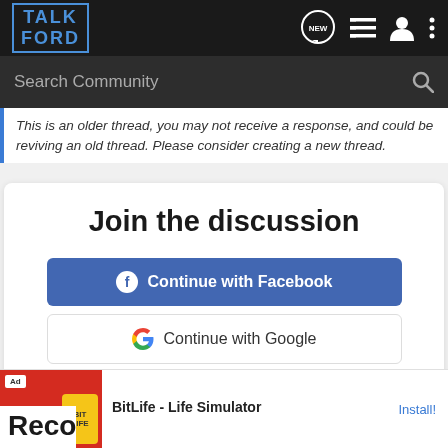TALK FORD
Search Community
This is an older thread, you may not receive a response, and could be reviving an old thread. Please consider creating a new thread.
Join the discussion
Continue with Facebook
Continue with Google
or sign up with email
[Figure (screenshot): Advertisement banner for BitLife - Life Simulator app with Install button]